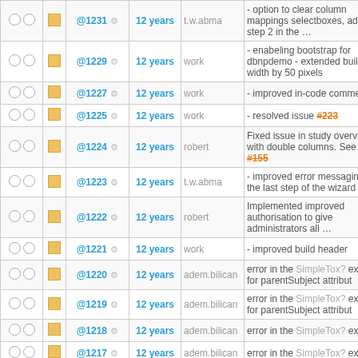|  |  | ID | Age | User | Message |
| --- | --- | --- | --- | --- | --- |
| ○ ○ | □ | @1231 ⚙ | 12 years | t.w.abma | - option to clear column mappings selectboxes, added to step 2 in the … |
| ○ ○ | □ | @1229 ⚙ | 12 years | work | - enabeling bootstrap for dbnpdemo - extended build info width by 50 pixels |
| ○ ○ | □ | @1227 ⚙ | 12 years | work | - improved in-code comment |
| ○ ○ | □ | @1225 ⚙ | 12 years | work | - resolved issue #223 |
| ○ ○ | □ | @1224 ⚙ | 12 years | robert | Fixed issue in study overview with double columns. See ticket #155 |
| ○ ○ | □ | @1223 ⚙ | 12 years | t.w.abma | - improved error messaging in the last step of the wizard |
| ○ ○ | □ | @1222 ⚙ | 12 years | robert | Implemented improved authorisation to give administrators all … |
| ○ ○ | □ | @1221 ⚙ | 12 years | work | - improved build header |
| ○ ○ | □ | @1220 ⚙ | 12 years | adem.bilican | error in the SimpleTox? exporter for parentSubject attribut |
| ○ ○ | □ | @1219 ⚙ | 12 years | adem.bilican | error in the SimpleTox? exporter for parentSubject attribut |
| ○ ○ | □ | @1218 ⚙ | 12 years | adem.bilican | error in the SimpleTox? exporter |
| ○ ○ | □ | @1217 ⚙ | 12 years | adem.bilican | error in the SimpleTox? exporter |
| ○ ○ | □ | @1216 ⚙ | 12 years | t.w.abma | - step 3 (mapping properties) added simple error message telling what … |